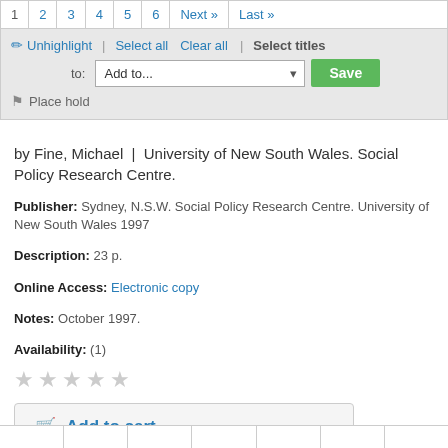1 2 3 4 5 6 Next » Last »
Unhighlight | Select all Clear all | Select titles to: Add to... Save
Place hold
by Fine, Michael | University of New South Wales. Social Policy Research Centre.
Publisher: Sydney, N.S.W. Social Policy Research Centre. University of New South Wales 1997
Description: 23 p.
Online Access: Electronic copy
Notes: October 1997.
Availability: (1)
★★★★★
Add to cart